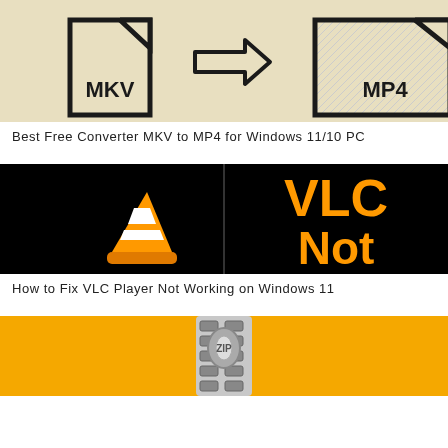[Figure (illustration): MKV to MP4 file conversion illustration: two file icons with MKV and MP4 labels connected by an arrow, on a beige/tan background]
Best Free Converter MKV to MP4 for Windows 11/10 PC
[Figure (illustration): VLC media player logo (orange cone) on black background left side, and large orange text 'VLC Not' on black background right side]
How to Fix VLC Player Not Working on Windows 11
[Figure (illustration): ZIP file illustration: a metallic zipper on a yellow/orange background, partially visible at bottom of page]